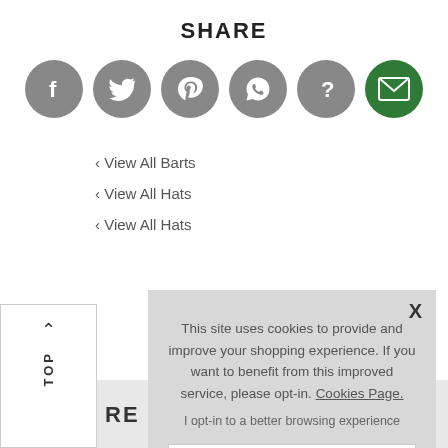SHARE
[Figure (infographic): Row of 6 circular social share icons: Facebook (grey), Twitter (grey), Pinterest (grey), WhatsApp (grey), Help/Question (grey), Email (green)]
‹ View All Barts
‹ View All Hats
‹ View All Hats
RE
[Figure (infographic): TOP navigation button with upward arrow, rotated text reading TOP]
This site uses cookies to provide and improve your shopping experience. If you want to benefit from this improved service, please opt-in. Cookies Page.
I opt-in to a better browsing experience
ACCEPT COOKIES